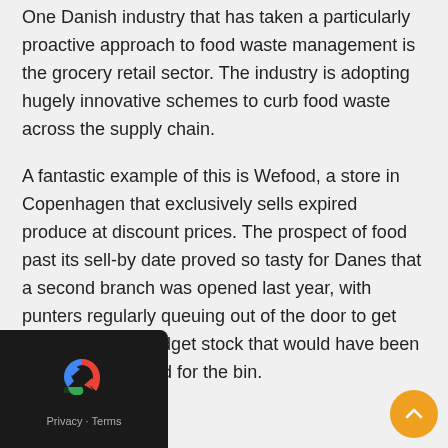One Danish industry that has taken a particularly proactive approach to food waste management is the grocery retail sector. The industry is adopting hugely innovative schemes to curb food waste across the supply chain.
A fantastic example of this is Wefood, a store in Copenhagen that exclusively sells expired produce at discount prices. The prospect of food past its sell-by date proved so tasty for Danes that a second branch was opened last year, with punters regularly queuing out of the door to get their hands on budget stock that would have been otherwise destined for the bin.